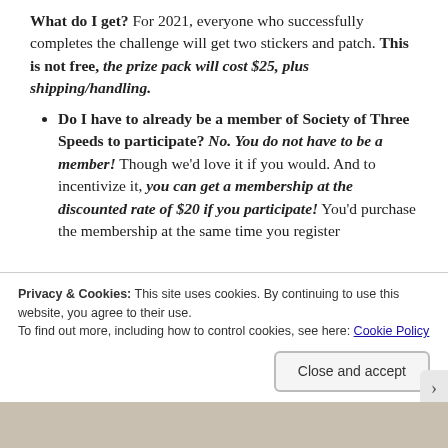What do I get? For 2021, everyone who successfully completes the challenge will get two stickers and patch. This is not free, the prize pack will cost $25, plus shipping/handling.
Do I have to already be a member of Society of Three Speeds to participate? No. You do not have to be a member! Though we'd love it if you would. And to incentivize it, you can get a membership at the discounted rate of $20 if you participate! You'd purchase the membership at the same time you register
Privacy & Cookies: This site uses cookies. By continuing to use this website, you agree to their use. To find out more, including how to control cookies, see here: Cookie Policy